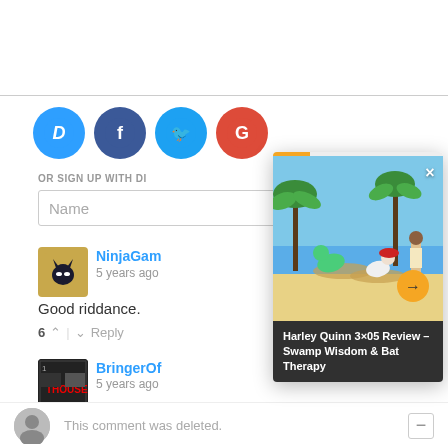[Figure (screenshot): Social login icons: Disqus (blue), Facebook (dark blue), Twitter (light blue), Google (red)]
OR SIGN UP WITH DI...
Name
NinjaGam...
5 years ago
Good riddance.
6 ^ | v Reply
BringerOf...
5 years ago
Good. Ivy and Selina can still show up too.
[Figure (screenshot): Popup overlay showing animated beach scene with Harley Quinn characters. Title: Harley Quinn 3x05 Review - Swamp Wisdom & Bat Therapy]
3 ^ | v Reply
This comment was deleted.